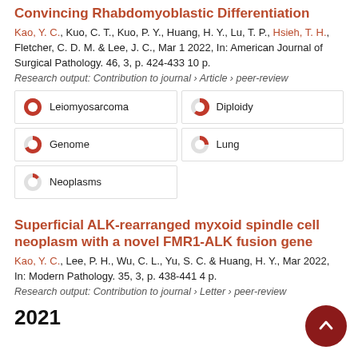Convincing Rhabdomyoblastic Differentiation
Kao, Y. C., Kuo, C. T., Kuo, P. Y., Huang, H. Y., Lu, T. P., Hsieh, T. H., Fletcher, C. D. M. & Lee, J. C., Mar 1 2022, In: American Journal of Surgical Pathology. 46, 3, p. 424-433 10 p.
Research output: Contribution to journal › Article › peer-review
[Figure (infographic): Keyword badges with pie/donut percentage indicators: Leiomyosarcoma (100%), Diploidy (90%), Genome (65%), Lung (50%), Neoplasms (25%)]
Superficial ALK-rearranged myxoid spindle cell neoplasm with a novel FMR1-ALK fusion gene
Kao, Y. C., Lee, P. H., Wu, C. L., Yu, S. C. & Huang, H. Y., Mar 2022, In: Modern Pathology. 35, 3, p. 438-441 4 p.
Research output: Contribution to journal › Letter › peer-review
2021